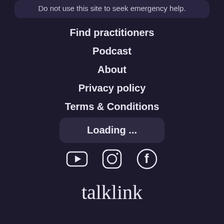Do not use this site to seek emergency help.
Find practitioners
Podcast
About
Privacy policy
Terms & Conditions
Loading ...
[Figure (illustration): Social media icons: YouTube, Instagram, Facebook]
[Figure (logo): talklink logo in cursive/handwriting style]